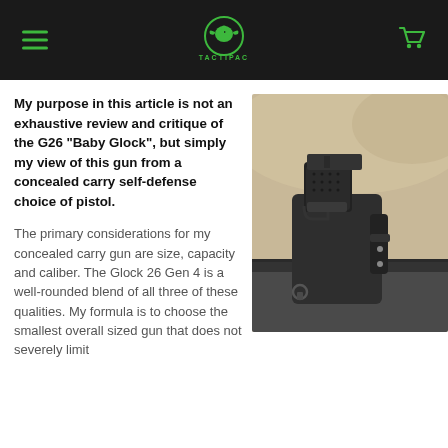TACTIPAC
My purpose in this article is not an exhaustive review and critique of the G26 “Baby Glock”, but simply my view of this gun from a concealed carry self-defense choice of pistol.
[Figure (photo): A Glock 26 pistol in a black IWB holster worn inside a waistband with khaki fabric visible in the background]
The primary considerations for my concealed carry gun are size, capacity and caliber. The Glock 26 Gen 4 is a well-rounded blend of all three of these qualities. My formula is to choose the smallest overall sized gun that does not severely limit